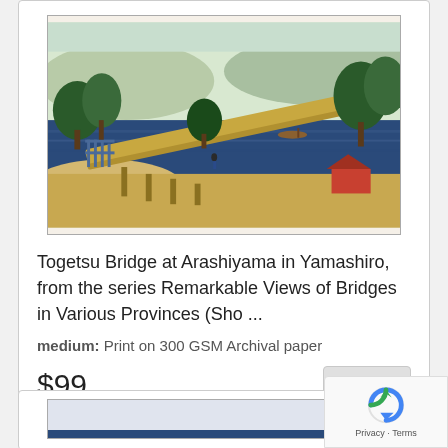[Figure (illustration): Japanese woodblock print showing Togetsu Bridge at Arashiyama with trees, water, mountains, and a bridge in traditional Japanese style]
Togetsu Bridge at Arashiyama in Yamashiro, from the series Remarkable Views of Bridges in Various Provinces (Sho ...
medium: Print on 300 GSM Archival paper
$99
[Figure (illustration): Partial view of a second product card showing the top of a Japanese print, partially visible at bottom of page]
[Figure (other): reCAPTCHA overlay widget with rotating arrow icon and Privacy/Terms text]